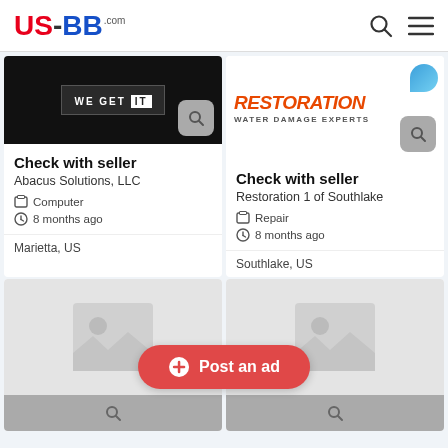US-BB.com
[Figure (screenshot): Listing card for Abacus Solutions, LLC - shows 'WE GET IT' banner image on black background with search icon]
Check with seller
Abacus Solutions, LLC
Computer
8 months ago
Marietta, US
[Figure (screenshot): Listing card for Restoration 1 of Southlake - shows Restoration brand logo with 'WATER DAMAGE EXPERTS' text]
Check with seller
Restoration 1 of Southlake
Repair
8 months ago
Southlake, US
[Figure (screenshot): Two placeholder image cards at the bottom of the page with grey image placeholders]
+ Post an ad